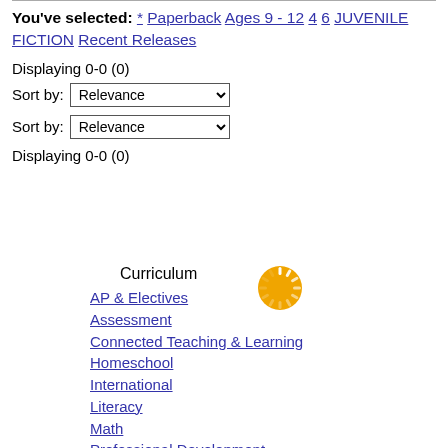You've selected: * Paperback Ages 9 - 12 4 6 JUVENILE FICTION Recent Releases
Displaying 0-0 (0)
Sort by: Relevance
Sort by: Relevance
Displaying 0-0 (0)
[Figure (other): Loading spinner icon — orange circular loading indicator]
Curriculum
AP & Electives
Assessment
Connected Teaching & Learning
Homeschool
International
Literacy
Math
Professional Development
Science